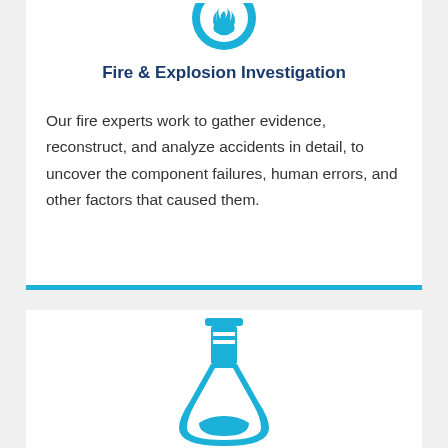[Figure (illustration): Blue circular icon partially visible at top of first card]
Fire & Explosion Investigation
Our fire experts work to gather evidence, reconstruct, and analyze accidents in detail, to uncover the component failures, human errors, and other factors that caused them.
[Figure (illustration): Blue flask/beaker laboratory icon at bottom of second card]